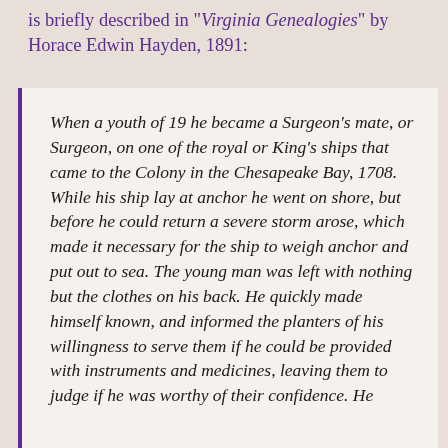is briefly described in "Virginia Genealogies" by Horace Edwin Hayden, 1891:
When a youth of 19 he became a Surgeon's mate, or Surgeon, on one of the royal or King's ships that came to the Colony in the Chesapeake Bay, 1708. While his ship lay at anchor he went on shore, but before he could return a severe storm arose, which made it necessary for the ship to weigh anchor and put out to sea. The young man was left with nothing but the clothes on his back. He quickly made himself known, and informed the planters of his willingness to serve them if he could be provided with instruments and medicines, leaving them to judge if he was worthy of their confidence. He